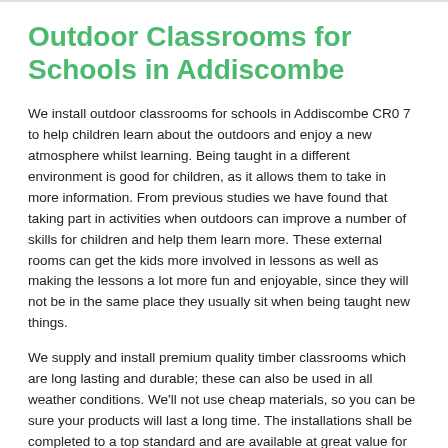Outdoor Classrooms for Schools in Addiscombe
We install outdoor classrooms for schools in Addiscombe CR0 7 to help children learn about the outdoors and enjoy a new atmosphere whilst learning. Being taught in a different environment is good for children, as it allows them to take in more information. From previous studies we have found that taking part in activities when outdoors can improve a number of skills for children and help them learn more. These external rooms can get the kids more involved in lessons as well as making the lessons a lot more fun and enjoyable, since they will not be in the same place they usually sit when being taught new things.
We supply and install premium quality timber classrooms which are long lasting and durable; these can also be used in all weather conditions. We'll not use cheap materials, so you can be sure your products will last a long time. The installations shall be completed to a top standard and are available at great value for money.